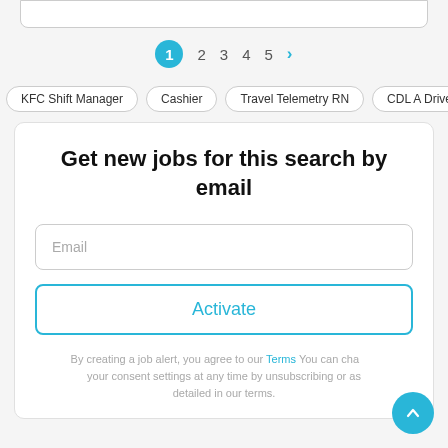[Figure (screenshot): Top portion of a rounded white input/search box cut off at the top of the page]
1  2  3  4  5  >
KFC Shift Manager  Cashier  Travel Telemetry RN  CDL A Drive
Get new jobs for this search by email
Email
Activate
By creating a job alert, you agree to our Terms You can change your consent settings at any time by unsubscribing or as detailed in our terms.